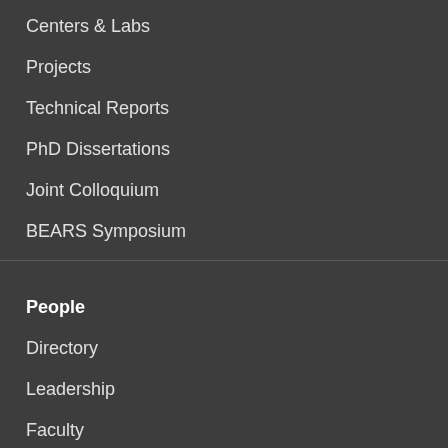Centers & Labs
Projects
Technical Reports
PhD Dissertations
Joint Colloquium
BEARS Symposium
People
Directory
Leadership
Faculty
Staff
Students
Alumni